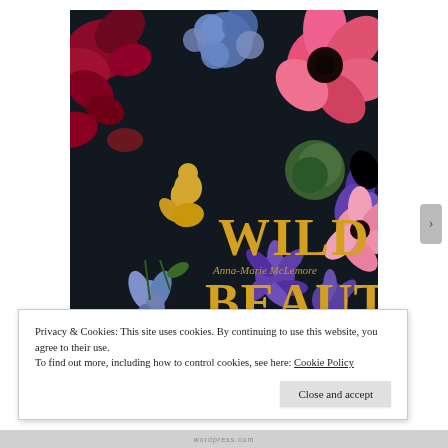[Figure (illustration): Book cover of 'Wild Beauty' by Anna-Marie McLemore. Dark background with colorful flowers (red, pink, blue, purple) arranged around bold gold text reading 'WILD BEAUTY' with a gold silhouette of a girl. Author name 'Anna-Marie McLemore' in gold script between the title words.]
Privacy & Cookies: This site uses cookies. By continuing to use this website, you agree to their use.
To find out more, including how to control cookies, see here: Cookie Policy
Close and accept